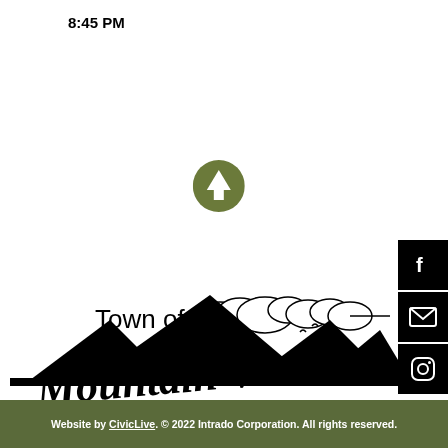8:45 PM
[Figure (logo): Green circular up-arrow icon]
[Figure (logo): Social sidebar with Facebook, email, and Instagram icons]
[Figure (logo): Town of Mountain View Colorado logo with mountain and cloud illustration]
4176 Benton St. Mountain View, CO 80212
Town Hall: (303) 421-7282
Municipal Court: (720) 668-8449
Website by CivicLive. © 2022 Intrado Corporation. All rights reserved.